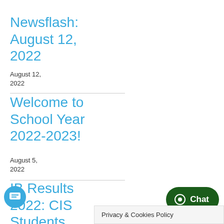Newsflash: August 12, 2022
August 12, 2022
Welcome to School Year 2022-2023!
August 5, 2022
IB Results 2022: CIS Students Continue to Score
Privacy & Cookies Policy